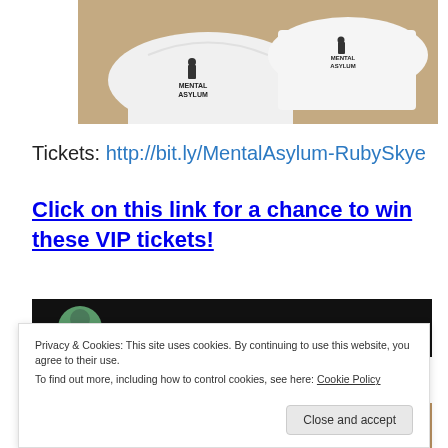[Figure (photo): Two white Mental Asylum t-shirts laid out on a cardboard surface]
Tickets: http://bit.ly/MentalAsylum-RubySkye
Click on this link for a chance to win these VIP tickets!
[Figure (photo): Partial photo with dark background, person visible at left edge]
[Figure (photo): Partial photo at bottom showing people at an event]
Privacy & Cookies: This site uses cookies. By continuing to use this website, you agree to their use.
To find out more, including how to control cookies, see here: Cookie Policy
Close and accept